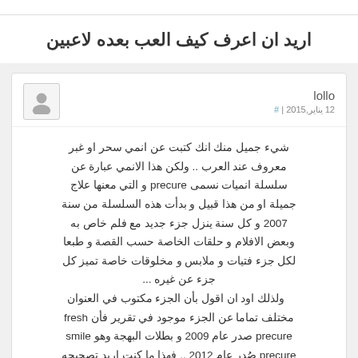اريد ان اعرف كيف العب بعده لاعبين
lollo
12 يناير,2015 | #
شيء جميل منك انك كتبت عن انمي سحر او غبر معروف عند العرب .. ولكن هذا الانمي عبارة عن سلسلة انميات نسمى precure و التي معنها علاج جميلة او من هذا قبيل و بدأت هذه السلسلة من سنة 2007 و كل سنة ينزل جزء جديد مع فلم خاص به وبعض الافلام و حلقات الخاصة حسب القصة و طبعا لكل جزء فتيات و ملابس و مخلوقات خاصة تميز كل جزء عن غيره ... ولذلك اود ان اقول بأن الجزء مكتوب في العنوان مختلف تماما عن الجزء موجود في تقرير فأن fresh precure صدر عام 2009 و بطلات البهجة وهو smile precure صُدر عام 2012 .. فهذا ما كنت اريد تصحيحه منذ البداية ,